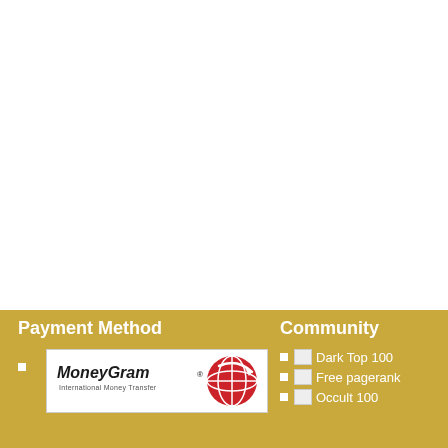Payment Method
[Figure (logo): MoneyGram International Money Transfer logo]
Community
Dark Top 100
Free pagerank
Occult 100